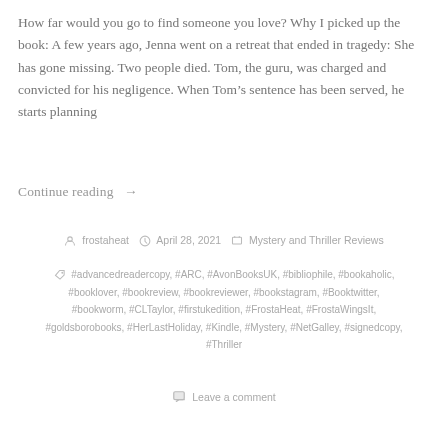How far would you go to find someone you love? Why I picked up the book: A few years ago, Jenna went on a retreat that ended in tragedy: She has gone missing. Two people died. Tom, the guru, was charged and convicted for his negligence. When Tom’s sentence has been served, he starts planning
Continue reading →
frostaheat   April 28, 2021   Mystery and Thriller Reviews
#advancedreadercopy, #ARC, #AvonBooksUK, #bibliophile, #bookaholic, #booklover, #bookreview, #bookreviewer, #bookstagram, #Booktwitter, #bookworm, #CLTaylor, #firstukedition, #FrostaHeat, #FrostaWingsIt, #goldsborobooks, #HerLastHoliday, #Kindle, #Mystery, #NetGalley, #signedcopy, #Thriller
Leave a comment